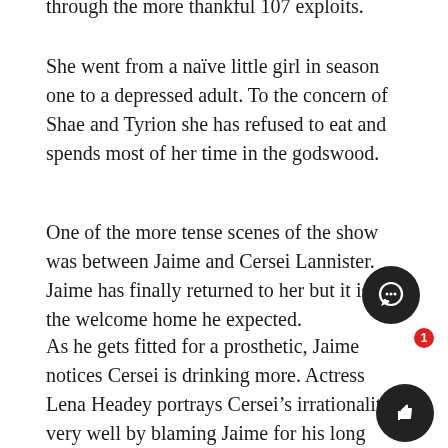through the more thankful 107 exploits.
She went from a naïve little girl in season one to a depressed adult. To the concern of Shae and Tyrion she has refused to eat and spends most of her time in the godswood.
One of the more tense scenes of the show was between Jaime and Cersei Lannister. Jaime has finally returned to her but it is not the welcome home he expected.
As he gets fitted for a prosthetic, Jaime notices Cersei is drinking more. Actress Lena Headey portrays Cersei's irrationality very well by blaming Jaime for his long absence, getting captured, and not apologizing.
We then go to Ygritte, who is still angry with Jon Snow. She and Tormund Giantsbane are ambushed by a group of cannibal wildlings called the Thenns who eat the arm of a member from the Night's Watch; a scene that was disappointingly not as disgusting as when Daenerys ate the